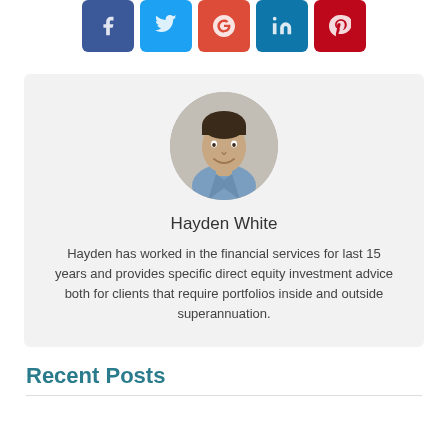[Figure (other): Row of five social media share buttons: Facebook (dark blue), Twitter (light blue), Google Plus (red), LinkedIn (teal blue), Pinterest (red)]
[Figure (photo): Circular profile photo of Hayden White, a man with dark hair wearing a blue shirt, smiling, against a neutral background.]
Hayden White
Hayden has worked in the financial services for last 15 years and provides specific direct equity investment advice both for clients that require portfolios inside and outside superannuation.
Recent Posts